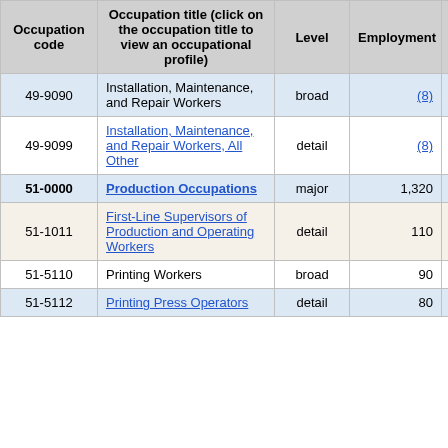| Occupation code | Occupation title (click on the occupation title to view an occupational profile) | Level | Employment | Employment RSE |
| --- | --- | --- | --- | --- |
| 49-9090 | Installation, Maintenance, and Repair Workers | broad | (8) | (8) |
| 49-9099 | Installation, Maintenance, and Repair Workers, All Other | detail | (8) | (8) |
| 51-0000 | Production Occupations | major | 1,320 | 13.0% |
| 51-1011 | First-Line Supervisors of Production and Operating Workers | detail | 110 | 26.5% |
| 51-5110 | Printing Workers | broad | 90 | 18.6% |
| 51-5112 | Printing Press Operators | detail | 80 | 18.1% |